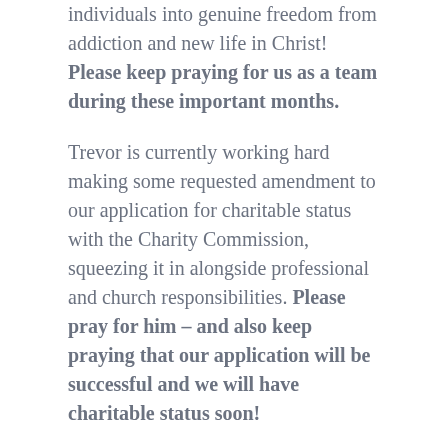individuals into genuine freedom from addiction and new life in Christ! Please keep praying for us as a team during these important months.
Trevor is currently working hard making some requested amendment to our application for charitable status with the Charity Commission, squeezing it in alongside professional and church responsibilities. Please pray for him – and also keep praying that our application will be successful and we will have charitable status soon!
As I wrap-up, let me leave you with a verse which my brother, Matt, shared with me when I was beginning work at Yeldall – words which express God's heart for you, us, and all those who (even now) are